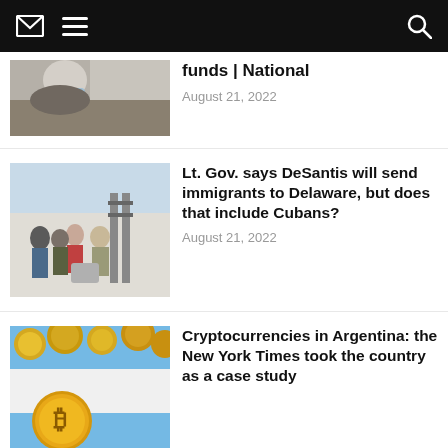Navigation bar with mail, menu, search icons
[Figure (photo): Cropped photo of a person wearing a mask and suit]
funds | National
August 21, 2022
[Figure (photo): People standing near a gate, some wearing masks, outdoor scene]
Lt. Gov. says DeSantis will send immigrants to Delaware, but does that include Cubans?
August 21, 2022
[Figure (photo): Argentine flag with gold cryptocurrency coins (Bitcoin) overlaid on top]
Cryptocurrencies in Argentina: the New York Times took the country as a case study